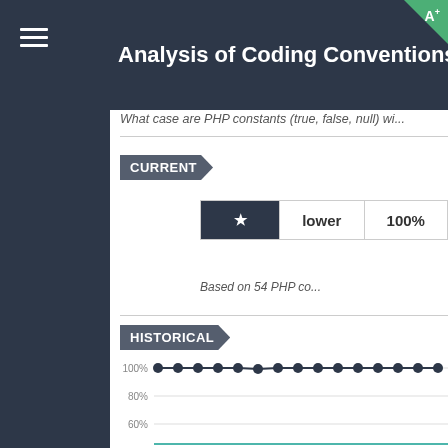Analysis of Coding Conventions for Aura...
What case are PHP constants (true, false, null) wri...
CURRENT
| ★ | lower | 100% |
| --- | --- | --- |
Based on 54 PHP co...
HISTORICAL
[Figure (line-chart): Line chart showing 100% usage over time with data points near 100%, grid lines at 80% and 60%]